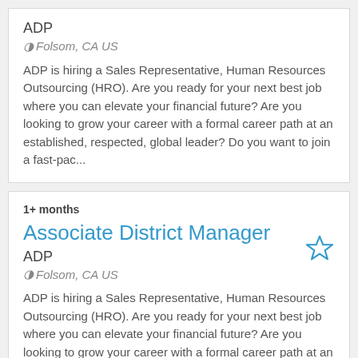ADP
Folsom, CA US
ADP is hiring a Sales Representative, Human Resources Outsourcing (HRO). Are you ready for your next best job where you can elevate your financial future? Are you looking to grow your career with a formal career path at an established, respected, global leader? Do you want to join a fast-pac...
1+ months
Associate District Manager
ADP
Folsom, CA US
ADP is hiring a Sales Representative, Human Resources Outsourcing (HRO). Are you ready for your next best job where you can elevate your financial future? Are you looking to grow your career with a formal career path at an established, respected, global leader? Do you want to join a fast-paced,...